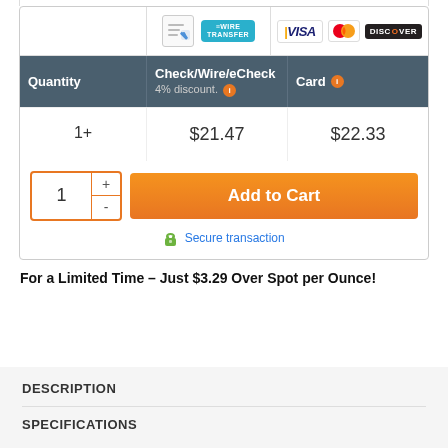| Quantity | Check/Wire/eCheck 4% discount. | Card |
| --- | --- | --- |
| 1+ | $21.47 | $22.33 |
Add to Cart
Secure transaction
For a Limited Time – Just $3.29 Over Spot per Ounce!
DESCRIPTION
SPECIFICATIONS